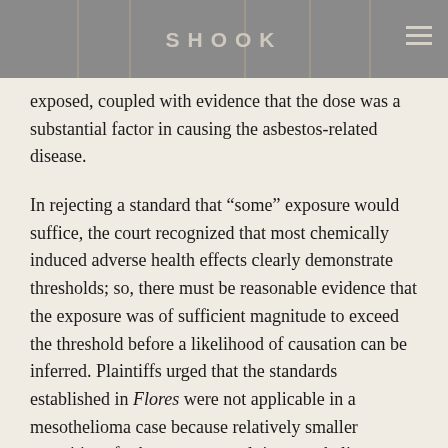SHOOK
exposed, coupled with evidence that the dose was a substantial factor in causing the asbestos-related disease.
In rejecting a standard that “some” exposure would suffice, the court recognized that most chemically induced adverse health effects clearly demonstrate thresholds; so, there must be reasonable evidence that the exposure was of sufficient magnitude to exceed the threshold before a likelihood of causation can be inferred. Plaintiffs urged that the standards established in Flores were not applicable in a mesothelioma case because relatively smaller quantities of asbestos can result in mesothelioma.  The court concluded that the Flores framework for reviewing the legal sufficiency of causation evidence lent itself to both